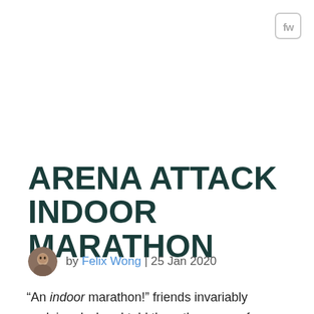[Figure (logo): fw logo in rounded square border, top right corner]
ARENA ATTACK INDOOR MARATHON
by Felix Wong | 25 Jan 2020
“An indoor marathon!” friends invariably exclaimed when I told them the reason for a quick weekend trip to Hartford Connecticut. That was usually followed